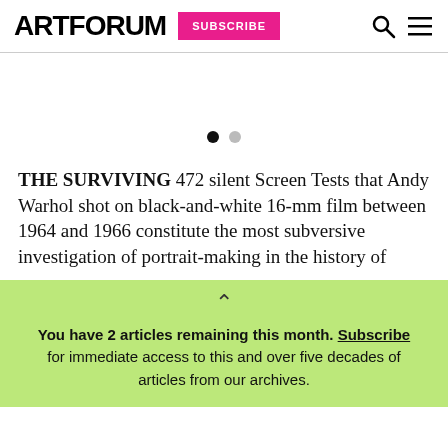ARTFORUM  SUBSCRIBE
[Figure (other): Slideshow pagination dots — one filled black dot and one gray dot indicating a two-slide carousel]
THE SURVIVING 472 silent Screen Tests that Andy Warhol shot on black-and-white 16-mm film between 1964 and 1966 constitute the most subversive investigation of portrait-making in the history of
You have 2 articles remaining this month. Subscribe for immediate access to this and over five decades of articles from our archives.